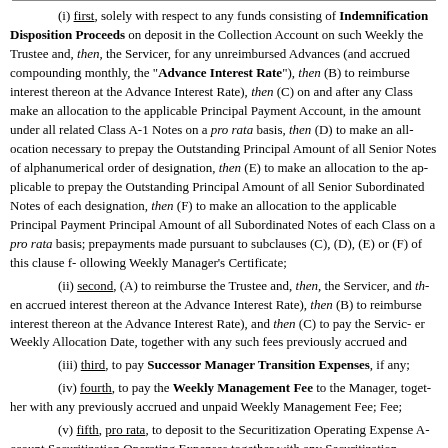(i) first, solely with respect to any funds consisting of Indemnification Disposition Proceeds on deposit in the Collection Account on such Weekly the Trustee and, then, the Servicer, for any unreimbursed Advances (and accrued compounding monthly, the "Advance Interest Rate"), then (B) to reimburse interest thereon at the Advance Interest Rate), then (C) on and after any Class make an allocation to the applicable Principal Payment Account, in the amount under all related Class A-1 Notes on a pro rata basis, then (D) to make an allocation necessary to prepay the Outstanding Principal Amount of all Senior Notes of alphanumerical order of designation, then (E) to make an allocation to the ap prepay the Outstanding Principal Amount of all Senior Subordinated Notes of each designation, then (F) to make an allocation to the applicable Principal Payment Principal Amount of all Subordinated Notes of each Class on a pro rata basis prepayments made pursuant to subclauses (C), (D), (E) or (F) of this clause Weekly Manager's Certificate;
(ii) second, (A) to reimburse the Trustee and, then, the Servicer, and then accrued interest thereon at the Advance Interest Rate), then (B) to reimburse interest thereon at the Advance Interest Rate), and then (C) to pay the Servicer Weekly Allocation Date, together with any such fees previously accrued and
(iii) third, to pay Successor Manager Transition Expenses, if any;
(iv) fourth, to pay the Weekly Management Fee to the Manager, together Fee;
(v) fifth, pro rata, to deposit to the Securitization Operating Expense Account Securitization Operating Expenses together with any Securitization Operating following Weekly Allocation Date, in an aggregate amount not to exceed the